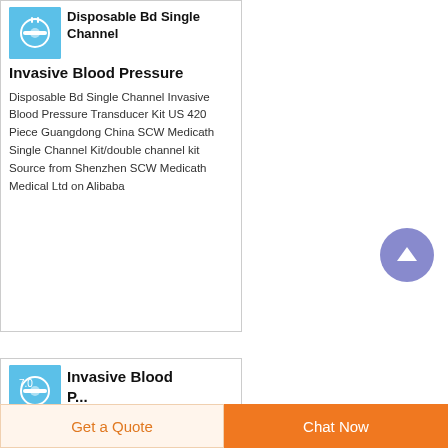[Figure (photo): Thumbnail image of a disposable blood pressure transducer kit on blue background]
Disposable Bd Single Channel Invasive Blood Pressure
Disposable Bd Single Channel Invasive Blood Pressure Transducer Kit US 420 Piece Guangdong China SCW Medicath Single Channel Kit/double channel kit Source from Shenzhen SCW Medicath Medical Ltd on Alibaba
[Figure (photo): Thumbnail image of an invasive blood pressure device on blue background]
Invasive Blood P...